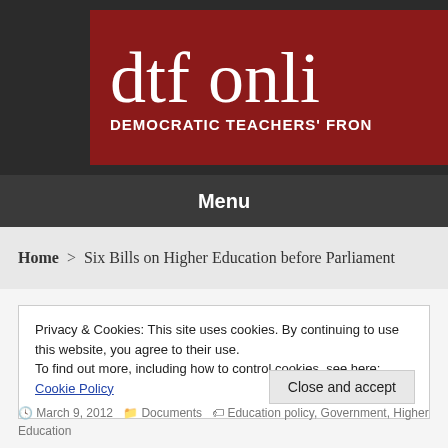[Figure (logo): DTF Online website header logo with dark background and red banner reading 'dtf onli' (truncated) and 'DEMOCRATIC TEACHERS' FRON' (truncated)]
Menu
Home > Six Bills on Higher Education before Parliament
Privacy & Cookies: This site uses cookies. By continuing to use this website, you agree to their use.
To find out more, including how to control cookies, see here: Cookie Policy
Close and accept
March 9, 2012   Documents   Education policy, Government, Higher Education